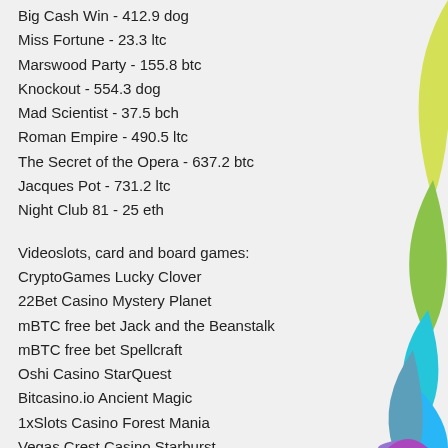Big Cash Win - 412.9 dog
Miss Fortune - 23.3 ltc
Marswood Party - 155.8 btc
Knockout - 554.3 dog
Mad Scientist - 37.5 bch
Roman Empire - 490.5 ltc
The Secret of the Opera - 637.2 btc
Jacques Pot - 731.2 ltc
Night Club 81 - 25 eth
Videoslots, card and board games:
CryptoGames Lucky Clover
22Bet Casino Mystery Planet
mBTC free bet Jack and the Beanstalk
mBTC free bet Spellcraft
Oshi Casino StarQuest
Bitcasino.io Ancient Magic
1xSlots Casino Forest Mania
Vegas Crest Casino Starburst
1xBit Casino La Cucaracha
King Billy Casino Crazy Rock Rio City